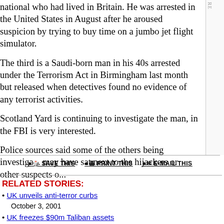national who had lived in Britain. He was arrested in the United States in August after he aroused suspicion by trying to buy time on a jumbo jet flight simulator.
The third is a Saudi-born man in his 40s arrested under the Terrorism Act in Birmingham last month but released when detectives found no evidence of any terrorist activities.
Scotland Yard is continuing to investigate the man, in the FBI is very interested.
Police sources said some of the others being investigated may have sat next to the hijackers or other suspects on...
RELATED STORIES:
UK unveils anti-terror curbs
October 3, 2001
UK freezes $90m Taliban assets
October 1, 2001
RELATED SITES:
Scotland Yard
Federal Bureau of Investigation